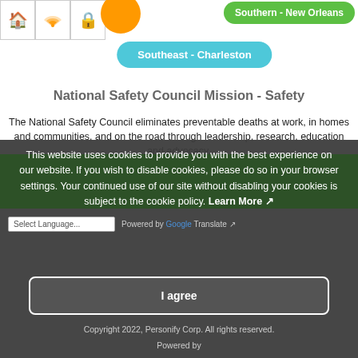[Figure (screenshot): Navigation icon row with home (purple), WiFi (orange), and lock (black) icons in bordered cells]
[Figure (other): Orange circle partially visible at right of icon row]
Southern - New Orleans
Southeast - Charleston
National Safety Council Mission - Safety
The National Safety Council eliminates preventable deaths at work, in homes and communities, and on the road through leadership, research, education and advocacy.
[Figure (screenshot): Dark gray cookie consent overlay with cookie policy message, green banner behind text, language select bar, I agree button, copyright, and Powered by footer]
This website uses cookies to provide you with the best experience on our website. If you wish to disable cookies, please do so in your browser settings. Your continued use of our site without disabling your cookies is subject to the cookie policy. Learn More
Select Language | Powered by Google Translate
I agree
Copyright 2022, Personify Corp. All rights reserved.
Powered by